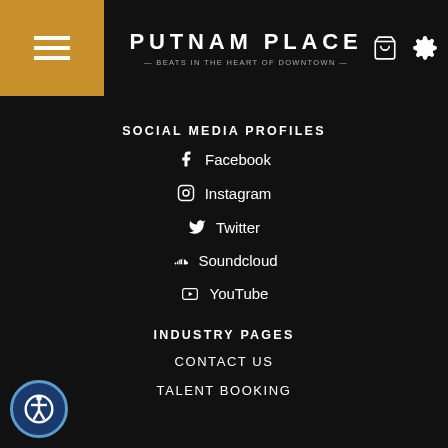PUTNAM PLACE — BEATS IN THE HEART OF DOWNTOWN
SOCIAL MEDIA PROFILES
Facebook
Instagram
Twitter
Soundcloud
YouTube
INDUSTRY PAGES
CONTACT US
TALENT BOOKING